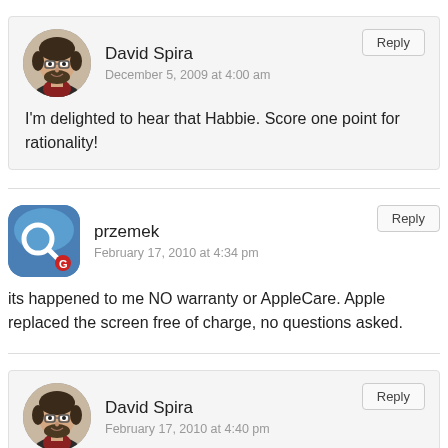David Spira
December 5, 2009 at 4:00 am
I'm delighted to hear that Habbie. Score one point for rationality!
przemek
February 17, 2010 at 4:34 pm
its happened to me NO warranty or AppleCare. Apple replaced the screen free of charge, no questions asked.
David Spira
February 17, 2010 at 4:40 pm